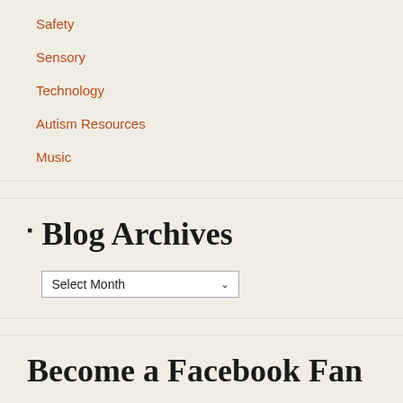Safety
Sensory
Technology
Autism Resources
Music
Blog Archives
Select Month
Become a Facebook Fan